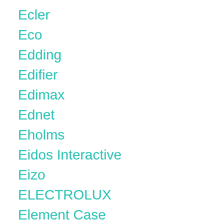Ecler
Eco
Edding
Edifier
Edimax
Ednet
Eholms
Eidos Interactive
Eizo
ELECTROLUX
Element Case
Elgato